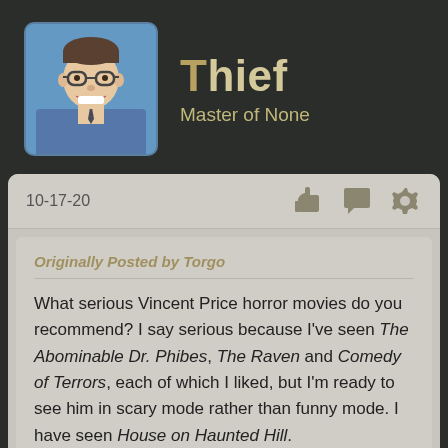[Figure (photo): Profile photo of a young man with glasses smiling, wearing a suit and tie, with a blue background. Avatar image used as user profile picture.]
Thief
Master of None
10-17-20
Originally Posted by Torgo
What serious Vincent Price horror movies do you recommend? I say serious because I've seen The Abominable Dr. Phibes, The Raven and Comedy of Terrors, each of which I liked, but I'm ready to see him in scary mode rather than funny mode. I have seen House on Haunted Hill.